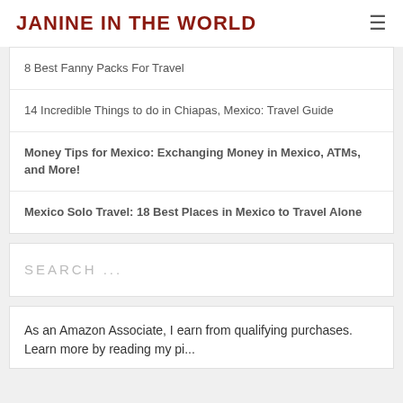JANINE IN THE WORLD
8 Best Fanny Packs For Travel
14 Incredible Things to do in Chiapas, Mexico: Travel Guide
Money Tips for Mexico: Exchanging Money in Mexico, ATMs, and More!
Mexico Solo Travel: 18 Best Places in Mexico to Travel Alone
SEARCH ...
As an Amazon Associate, I earn from qualifying purchases. Learn more by reading my pi...